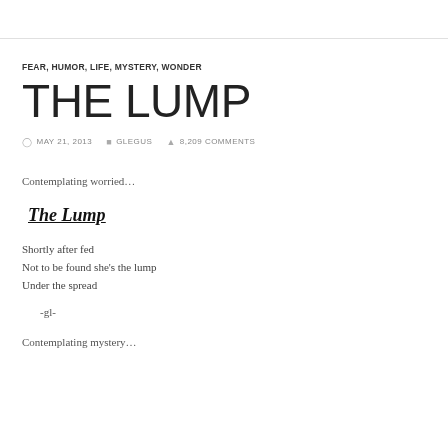FEAR, HUMOR, LIFE, MYSTERY, WONDER
THE LUMP
MAY 21, 2013   GLEGUS   8,209 COMMENTS
Contemplating worried…
The Lump
Shortly after fed
Not to be found she's the lump
Under the spread
-gl-
Contemplating mystery…